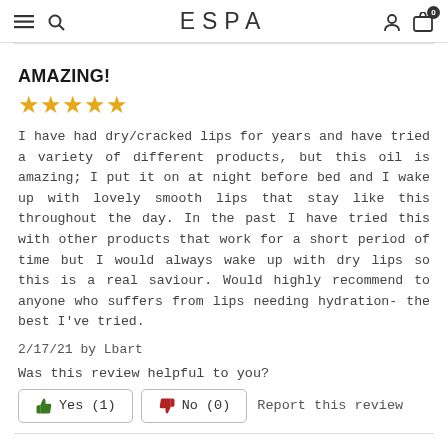≡  🔍  ESPA  👤  🛒 0
AMAZING!
[Figure (other): 5 gold stars rating]
I have had dry/cracked lips for years and have tried a variety of different products, but this oil is amazing; I put it on at night before bed and I wake up with lovely smooth lips that stay like this throughout the day. In the past I have tried this with other products that work for a short period of time but I would always wake up with dry lips so this is a real saviour. Would highly recommend to anyone who suffers from lips needing hydration- the best I've tried.
2/17/21 by Lbart
Was this review helpful to you?
👍 Yes (1)   👎 No (0)   Report this review